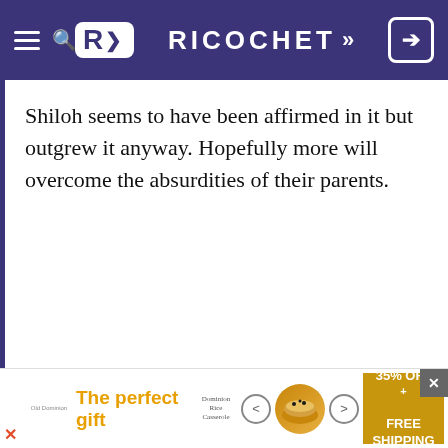RICOCHET
Shiloh seems to have been affirmed in it but outgrew it anyway. Hopefully more will overcome the absurdities of their parents.
[Figure (infographic): Advertisement banner: 'The perfect gift' with food product, navigation arrows, 35% OFF + FREE SHIPPING offer badge]